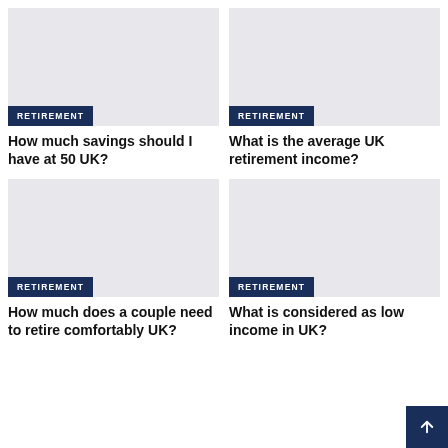[Figure (photo): Gray placeholder image for article about retirement savings]
RETIREMENT
How much savings should I have at 50 UK?
[Figure (photo): Gray placeholder image for article about UK retirement income]
RETIREMENT
What is the average UK retirement income?
[Figure (photo): Gray placeholder image for article about couple retirement savings]
RETIREMENT
How much does a couple need to retire comfortably UK?
[Figure (photo): Gray placeholder image for article about low income in UK]
RETIREMENT
What is considered as low income in UK?